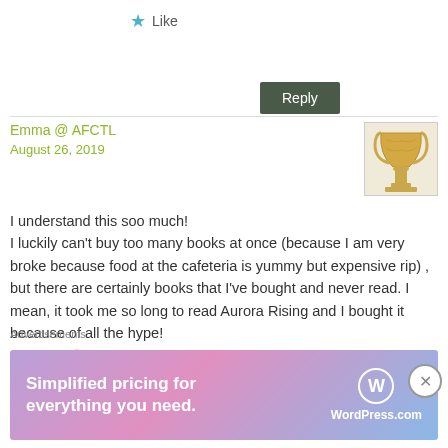Like
Reply
Emma @ AFCTL
August 26, 2019
I understand this soo much! I luckily can't buy too many books at once (because I am very broke because food at the cafeteria is yummy but expensive rip) , but there are certainly books that I've bought and never read. I mean, it took me so long to read Aurora Rising and I bought it because of all the hype!
– Emma 🙂
Advertisements
[Figure (screenshot): WordPress.com advertisement banner: 'Simplified pricing for everything you need.' with WordPress.com logo on a purple-pink-blue gradient background]